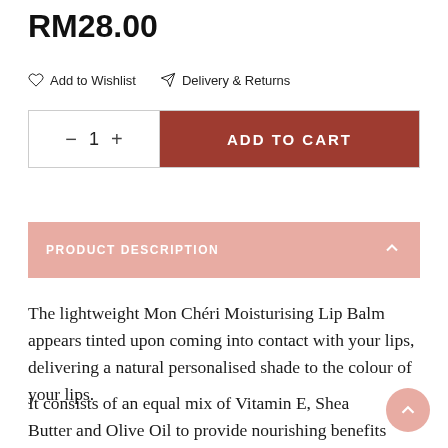RM28.00
Add to Wishlist   Delivery & Returns
− 1 +   ADD TO CART
PRODUCT DESCRIPTION
The lightweight Mon Chéri Moisturising Lip Balm appears tinted upon coming into contact with your lips, delivering a natural personalised shade to the colour of your lips.
It consists of an equal mix of Vitamin E, Shea Butter and Olive Oil to provide nourishing benefits